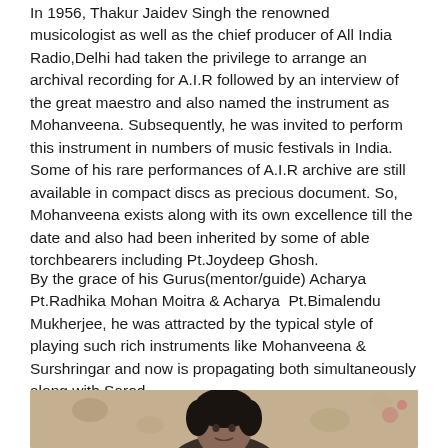In 1956, Thakur Jaidev Singh the renowned musicologist as well as the chief producer of All India Radio,Delhi had taken the privilege to arrange an archival recording for A.I.R followed by an interview of the great maestro and also named the instrument as Mohanveena. Subsequently, he was invited to perform this instrument in numbers of music festivals in India. Some of his rare performances of A.I.R archive are still available in compact discs as precious document. So, Mohanveena exists along with its own excellence till the date and also had been inherited by some of able torchbearers including Pt.Joydeep Ghosh.
By the grace of his Gurus(mentor/guide) Acharya Pt.Radhika Mohan Moitra & Acharya Pt.Bimalendu Mukherjee, he was attracted by the typical style of playing such rich instruments like Mohanveena & Surshringar and now is propagating both simultaneously along with Sarod.
[Figure (photo): Photograph of a person (likely Pt.Joydeep Ghosh) shown from the shoulders up, with dark hair, against a floral patterned background.]